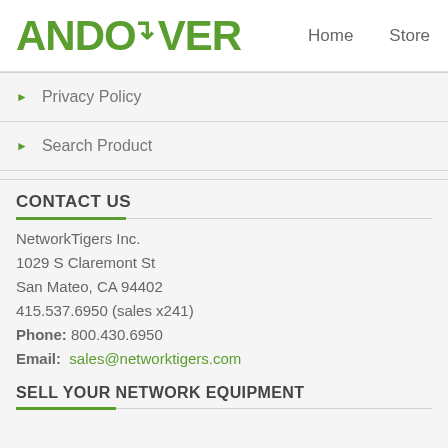ANDOVER  Home  Store
Privacy Policy
Search Product
CONTACT US
NetworkTigers Inc.
1029 S Claremont St
San Mateo, CA 94402
415.537.6950 (sales x241)
Phone: 800.430.6950
Email: sales@networktigers.com
SELL YOUR NETWORK EQUIPMENT